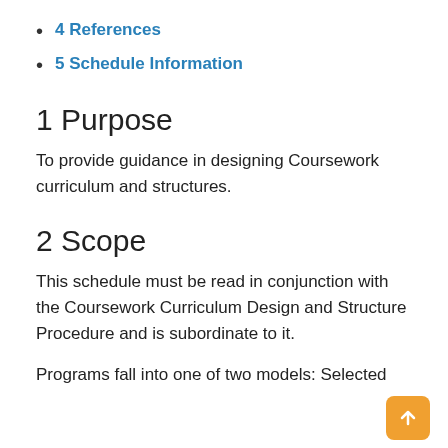4 References
5 Schedule Information
1 Purpose
To provide guidance in designing Coursework curriculum and structures.
2 Scope
This schedule must be read in conjunction with the Coursework Curriculum Design and Structure Procedure and is subordinate to it.
Programs fall into one of two models: Selected